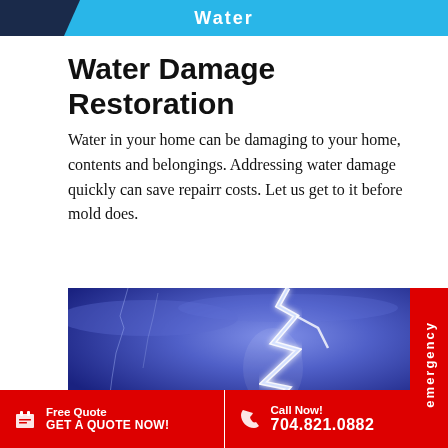Water
Water Damage Restoration
Water in your home can be damaging to your home, contents and belongings. Addressing water damage quickly can save repairr costs. Let us get to it before mold does.
[Figure (photo): Lightning strike photo with bright white/blue lightning bolt against dark blue stormy sky]
Free Quote  GET A QUOTE NOW!  |  Call Now!  704.821.0882